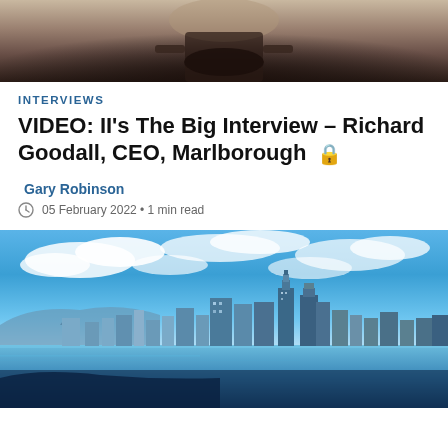[Figure (photo): Partial view of a person seated, wearing dark clothing, photographed from the waist down in an indoor setting]
INTERVIEWS
VIDEO: II's The Big Interview - Richard Goodall, CEO, Marlborough 🔒
Gary Robinson
05 February 2022 • 1 min read
[Figure (photo): Aerial panoramic view of a major Asian city skyline (Hong Kong) with harbor, skyscrapers, and dramatic blue sky with white clouds]